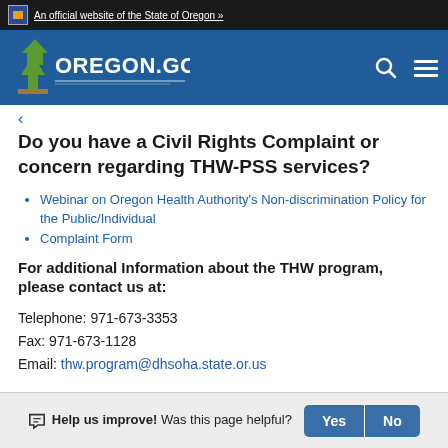An official website of the State of Oregon »
[Figure (logo): Oregon.gov logo with tree on blue header bar with search and menu icons]
Do you have a Civil Rights Complaint or concern regarding THW-PSS services?
Webinar on Oregon Health Authority's Non-discrimination Policy for the Public/Individual
Complaint Form
For additional Information about the THW program, please contact us at:
Telephone: 971-673-3353
Fax: 971-673-1128
Email: thw.program@dhsoha.state.or.us
Help us improve! Was this page helpful? Yes No